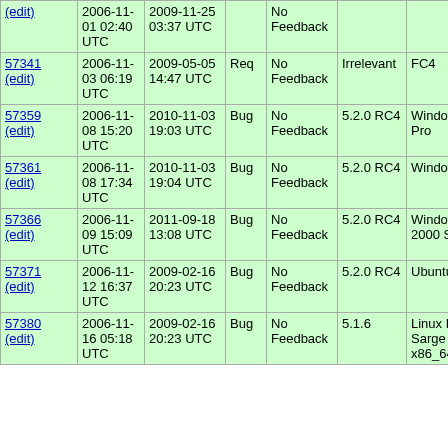| ID | Created | Modified | Type | Feedback | Version | OS | Summary |
| --- | --- | --- | --- | --- | --- | --- | --- |
| (edit) | 2006-11-01 02:40 UTC | 2009-11-25 03:37 UTC |  | No Feedback |  |  | email error |
| 57341 (edit) | 2006-11-03 06:19 UTC | 2009-05-05 14:47 UTC | Req | No Feedback | Irrelevant | FC4 | apc_s apc_f dates |
| 57359 (edit) | 2006-11-08 15:20 UTC | 2010-11-03 19:03 UTC | Bug | No Feedback | 5.2.0 RC4 | Windows XP Pro | class not w APC |
| 57361 (edit) | 2006-11-08 17:34 UTC | 2010-11-03 19:04 UTC | Bug | No Feedback | 5.2.0 RC4 | Windows XP | Apac every |
| 57366 (edit) | 2006-11-09 15:09 UTC | 2011-09-18 13:08 UTC | Bug | No Feedback | 5.2.0 RC4 | Windows 2000 Server | Timed HTML |
| 57371 (edit) | 2006-11-12 16:37 UTC | 2009-02-16 20:23 UTC | Bug | No Feedback | 5.2.0 RC4 | Ubuntu 6.06 | APC segfa sma_ detail |
| 57380 (edit) | 2006-11-16 05:18 UTC | 2009-02-16 20:23 UTC | Bug | No Feedback | 5.1.6 | Linux Debian Sarge x86_64 | Reop |